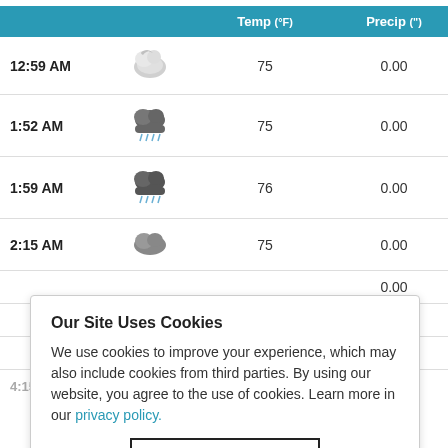|  |  | Temp (°F) | Precip (") |
| --- | --- | --- | --- |
| 12:59 AM | [cloud icon] | 75 | 0.00 |
| 1:52 AM | [rain cloud icon] | 75 | 0.00 |
| 1:59 AM | [rain cloud icon] | 76 | 0.00 |
| 2:15 AM | [cloud icon] | 75 | 0.00 |
|  |  |  | 0.00 |
|  |  |  | 0.00 |
|  |  |  | 0.09 |
|  |  | 75 | 0.00 |
Our Site Uses Cookies
We use cookies to improve your experience, which may also include cookies from third parties. By using our website, you agree to the use of cookies. Learn more in our privacy policy.
ACCEPT & CLOSE